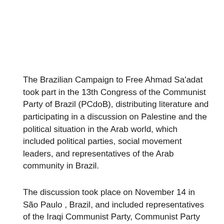The Brazilian Campaign to Free Ahmad Sa'adat took part in the 13th Congress of the Communist Party of Brazil (PCdoB), distributing literature and participating in a discussion on Palestine and the political situation in the Arab world, which included political parties, social movement leaders, and representatives of the Arab community in Brazil.
The discussion took place on November 14 in São Paulo , Brazil, and included representatives of the Iraqi Communist Party, Communist Party of Lebanon, Arab Socialist Nationalist Party of Syria, the Palestinian People 's Party, Fateh, and the Popular Front for the Liberation of Palestine .